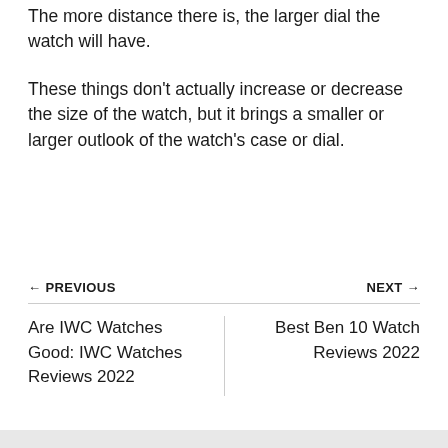The more distance there is, the larger dial the watch will have.
These things don't actually increase or decrease the size of the watch, but it brings a smaller or larger outlook of the watch's case or dial.
← PREVIOUS
Are IWC Watches Good: IWC Watches Reviews 2022
NEXT →
Best Ben 10 Watch Reviews 2022